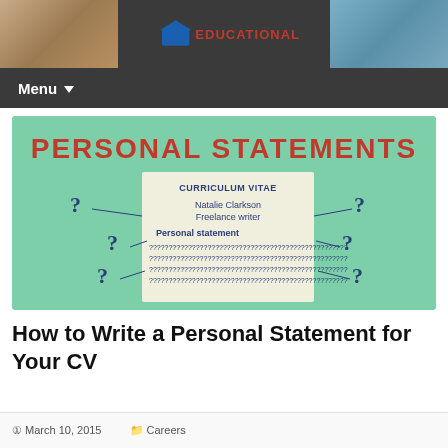EDUCATIONAL — Menu
[Figure (infographic): Infographic on a mint green background showing 'PERSONAL STATEMENTS' in large red bold text at top. Center shows a CV card for 'Natalie Clarkson, Freelance writer' with a Personal Statement section filled with question marks representing unknown content. Question marks also surround the CV card on both sides with diagonal lines pointing to the CV.]
How to Write a Personal Statement for Your CV
March 10, 2015    Careers